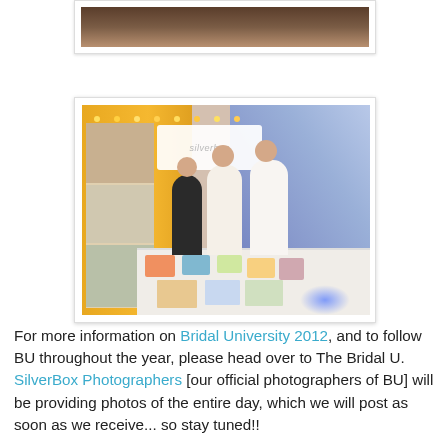[Figure (photo): Partial view of a wooden floor/venue space, top portion cropped, indoor setting]
[Figure (photo): Three people standing behind a table at a trade show booth for SilverBox Photographers, with string lights and blue uplighting in background]
For more information on Bridal University 2012, and to follow BU throughout the year, please head over to The Bridal U. SilverBox Photographers [our official photographers of BU] will be providing photos of the entire day, which we will post as soon as we receive... so stay tuned!!